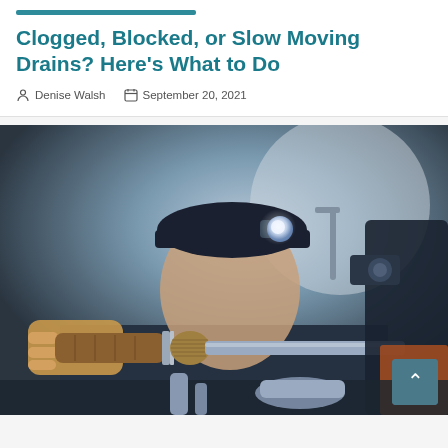Clogged, Blocked, or Slow Moving Drains? Here’s What to Do
Denise Walsh   September 20, 2021
[Figure (photo): A plumber or technician holding a pipe brush/cleaning tool up close to the camera, wearing a dark cap and navy shirt, with a headlamp on, inspecting or cleaning a drain pipe. Workshop setting with tools visible in background.]